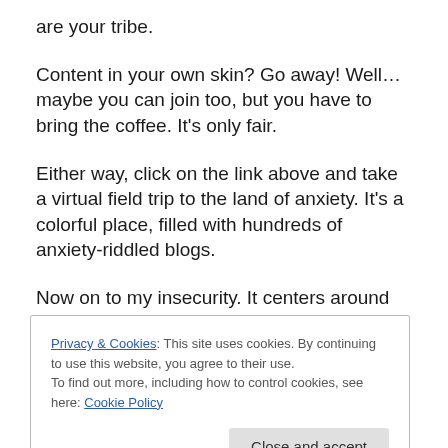are your tribe.
Content in your own skin? Go away! Well… maybe you can join too, but you have to bring the coffee. It's only fair.
Either way, click on the link above and take a virtual field trip to the land of anxiety. It's a colorful place, filled with hundreds of anxiety-riddled blogs.
Now on to my insecurity. It centers around the balancing of two projects at the same time. I'm currently revising my second book, and I'm really at the beginning of that
Privacy & Cookies: This site uses cookies. By continuing to use this website, you agree to their use.
To find out more, including how to control cookies, see here: Cookie Policy
been able to parlay that into a contract. Still, I broke down